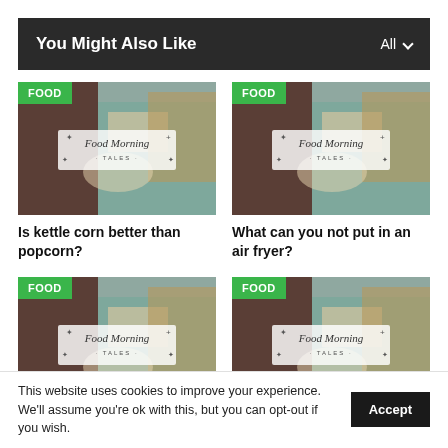You Might Also Like
[Figure (photo): Food photo with FOOD badge — article thumbnail for 'Is kettle corn better than popcorn?']
Is kettle corn better than popcorn?
[Figure (photo): Food photo with FOOD badge — article thumbnail for 'What can you not put in an air fryer?']
What can you not put in an air fryer?
[Figure (photo): Food photo with FOOD badge — bottom-left article thumbnail (partially visible)]
[Figure (photo): Food photo with FOOD badge — bottom-right article thumbnail (partially visible)]
This website uses cookies to improve your experience. We'll assume you're ok with this, but you can opt-out if you wish.